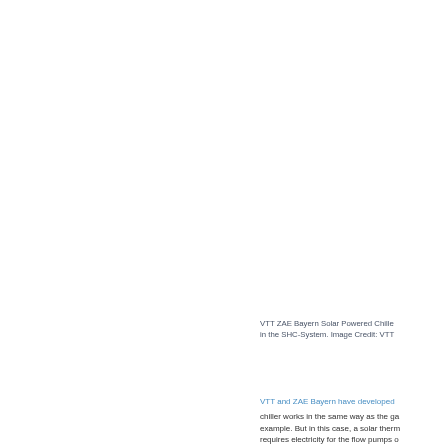VTT ZAE Bayern Solar Powered Chiller in the SHC-System. Image Credit: VTT
VTT and ZAE Bayern have developed a chiller works in the same way as the ga example. But in this case, a solar therm requires electricity for the flow pumps o heat pump.
The results of the project showed that - economically viable and competitive, s kW or bigger.
Finnish company Savo-Solar Plc partic tests. As a result, the company's head system built for the project. Savo-Solar